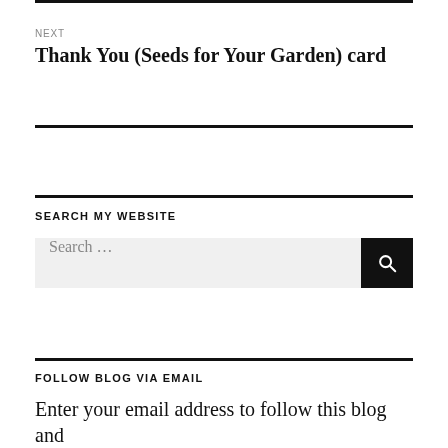NEXT
Thank You (Seeds for Your Garden) card
SEARCH MY WEBSITE
[Figure (other): Search box with text 'Search ...' and a dark search button with magnifying glass icon]
FOLLOW BLOG VIA EMAIL
Enter your email address to follow this blog and receive notifications of new posts by email.